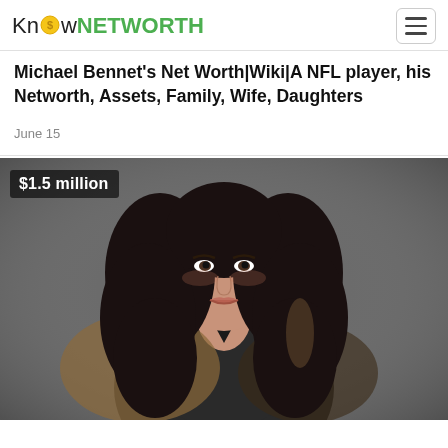KnowNETWORTH
Michael Bennet's Net Worth|Wiki|A NFL player, his Networth, Assets, Family, Wife, Daughters
June 15
[Figure (photo): Portrait photo of a woman with long dark wavy hair wearing a black top, with a dark grey background. A badge overlay in the top-left reads '$1.5 million'.]